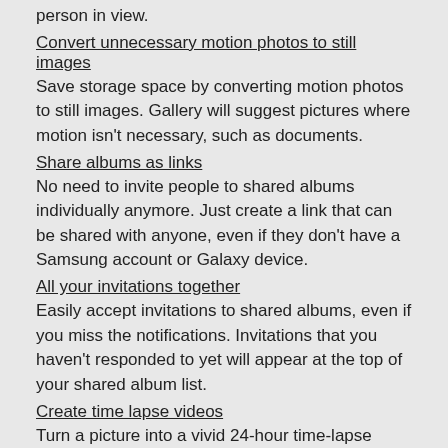person in view.
Convert unnecessary motion photos to still images
Save storage space by converting motion photos to still images. Gallery will suggest pictures where motion isn't necessary, such as documents.
Share albums as links
No need to invite people to shared albums individually anymore. Just create a link that can be shared with anyone, even if they don't have a Samsung account or Galaxy device.
All your invitations together
Easily accept invitations to shared albums, even if you miss the notifications. Invitations that you haven't responded to yet will appear at the top of your shared album list.
Create time lapse videos
Turn a picture into a vivid 24-hour time-lapse video. A button will appear for pictures of scenery including the sky, bodies of water, mountains, or cities. Your video will appear as if an entire day has passed.
AR Zone
Express yourself like never before in augmented reality. Create your own emojis, stickers, doodles, and more.
More decorations for your emoji stickers